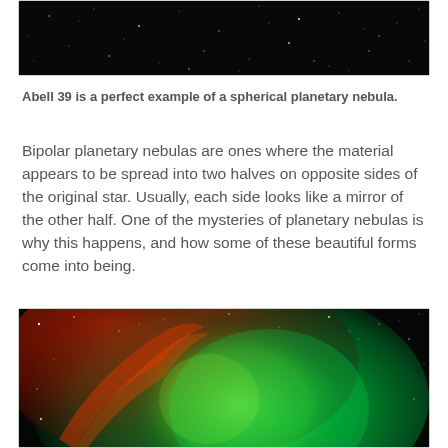[Figure (photo): Astronomical photo showing a dark star field with faint stars on a black background — top portion of Abell 39 nebula image]
Abell 39 is a perfect example of a spherical planetary nebula.
Bipolar planetary nebulas are ones where the material appears to be spread into two halves on opposite sides of the original star. Usually, each side looks like a mirror of the other half. One of the mysteries of planetary nebulas is why this happens, and how some of these beautiful forms come into being.
[Figure (photo): Astronomical photo of a planetary nebula showing green and red glowing gas clouds against a black star field — a bipolar or spherical nebula with vivid colors]